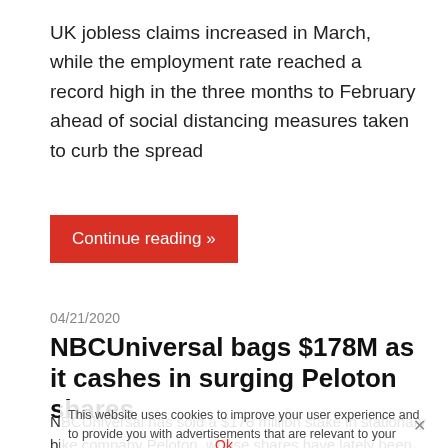UK jobless claims increased in March, while the employment rate reached a record high in the three months to February ahead of social distancing measures taken to curb the spread
Continue reading »
04/21/2020
NBCUniversal bags $178M as it cashes in surging Peloton shares
NBCUniversal has sold a $178 million stake in stationary bike company Peloton, whose shares have lately been surging because of the coronavirus crisis. The Comcast-owned broadcaster — an early investor
This website uses cookies to improve your user experience and to provide you with advertisements that are relevant to your interests. By continuing to browse the site you are agreeing to our use of cookies.
Ok